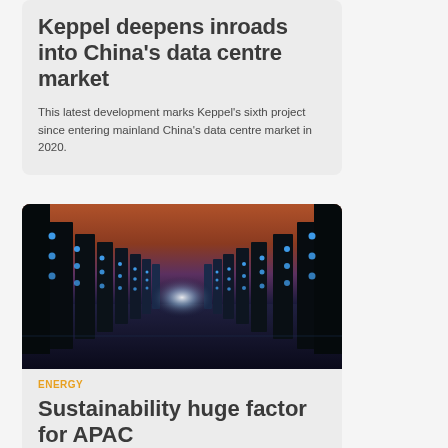Keppel deepens inroads into China's data centre market
This latest development marks Keppel's sixth project since entering mainland China's data centre market in 2020.
[Figure (photo): Corridor of a data centre with rows of illuminated server racks receding to a bright vanishing point, tinted blue and orange]
ENERGY
Sustainability huge factor for APAC